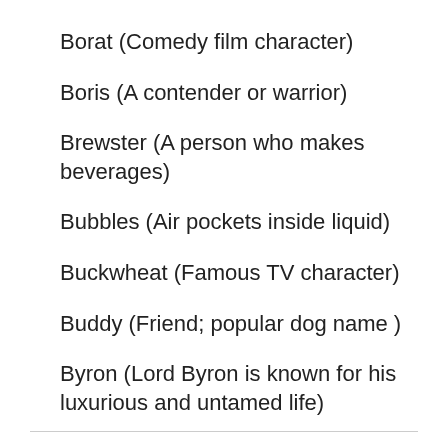Borat (Comedy film character)
Boris (A contender or warrior)
Brewster (A person who makes beverages)
Bubbles (Air pockets inside liquid)
Buckwheat (Famous TV character)
Buddy (Friend; popular dog name )
Byron (Lord Byron is known for his luxurious and untamed life)
Cameo (a walk-on role)